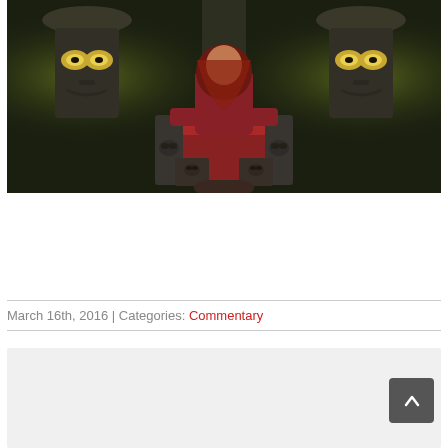[Figure (photo): A bearded man in a red shirt sitting on a throne-like stone chair flanked by large stone idol faces with glowing yellow eyes, in a dark forest setting]
March 16th, 2016 | Categories: Commentary